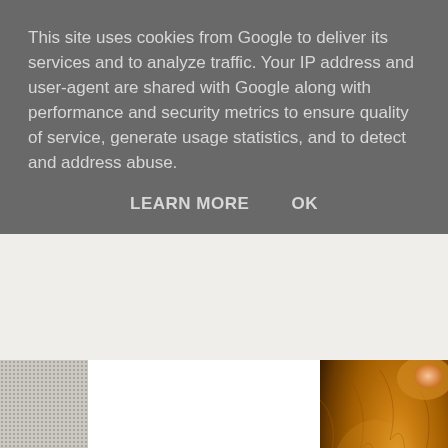This site uses cookies from Google to deliver its services and to analyze traffic. Your IP address and user-agent are shared with Google along with performance and security metrics to ensure quality of service, generate usage statistics, and to detect and address abuse.
LEARN MORE    OK
[Figure (photo): Close-up photo of an orange/ginger cat, showing its face and fur from above, with warm golden-brown tones.]
Our holiday would not have been as wonderful as it entertainment team at the resort. They work really all the guests. How they managed to remember eve
[Figure (photo): A partially visible photo with grey/overcast sky tones at the bottom right of the page.]